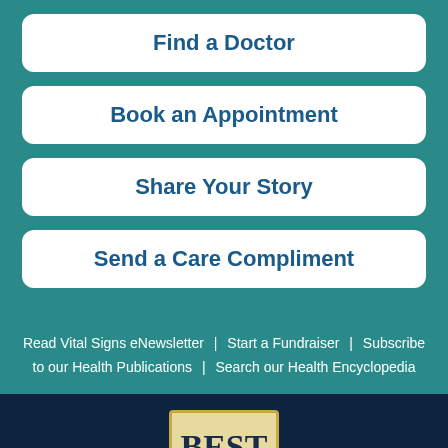Find a Doctor
Book an Appointment
Share Your Story
Send a Care Compliment
Read Vital Signs eNewsletter | Start a Fundraiser | Subscribe to our Health Publications | Search our Health Encyclopedia
[Figure (logo): Best Hospitals badge/award logo with cream/golden background and dark text]